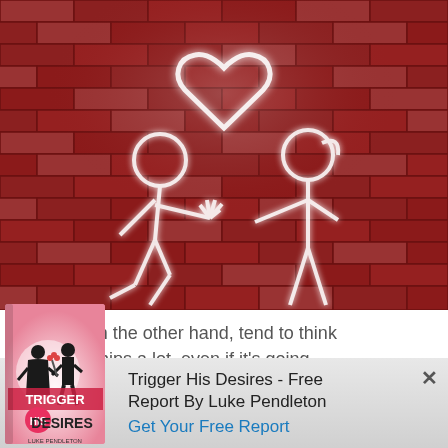[Figure (illustration): Stick figure drawing on a dark red brick wall background. A male stick figure kneeling on one knee presents flowers to a female stick figure. A white heart outline glows above them.]
Women, on the other hand, tend to think relationships a lot, even if it’s going
[Figure (illustration): Book cover for 'Trigger His Desires - Free Report By Luke Pendleton' showing silhouettes of a couple, with pink and white design. Text on cover: TRIGGER HIS DESIRES, LUKE PENDLETON.]
Trigger His Desires - Free Report By Luke Pendleton
Get Your Free Report